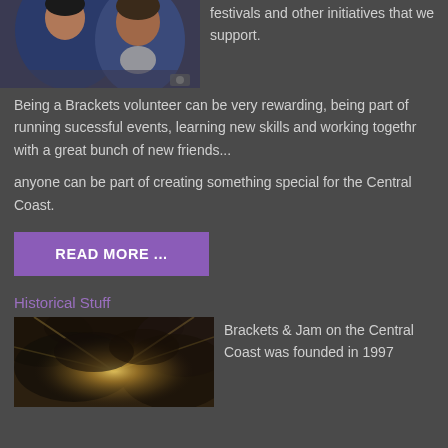[Figure (photo): Two people close together, one wearing a blue jacket, partial top crop]
festivals and other initiatives that we support.
Being a Brackets volunteer can be very rewarding, being part of running sucessful events, learning new skills and working togethr with a great bunch of new friends...
anyone can be part of creating something special for the Central Coast.
READ MORE ...
Historical Stuff
[Figure (photo): Dramatic sky with sunlight breaking through clouds, sepia/warm tone]
Brackets & Jam on the Central Coast was founded in 1997